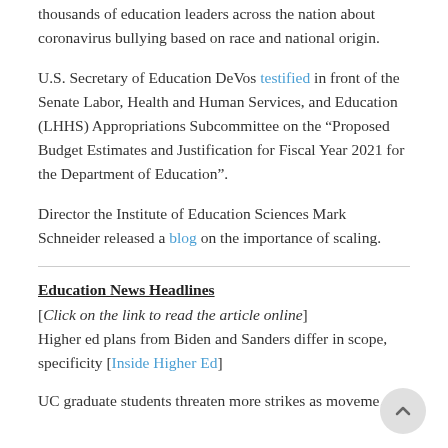thousands of education leaders across the nation about coronavirus bullying based on race and national origin.
U.S. Secretary of Education DeVos testified in front of the Senate Labor, Health and Human Services, and Education (LHHS) Appropriations Subcommittee on the “Proposed Budget Estimates and Justification for Fiscal Year 2021 for the Department of Education”.
Director the Institute of Education Sciences Mark Schneider released a blog on the importance of scaling.
Education News Headlines
[Click on the link to read the article online]
Higher ed plans from Biden and Sanders differ in scope, specificity [Inside Higher Ed]
UC graduate students threaten more strikes as moveme...